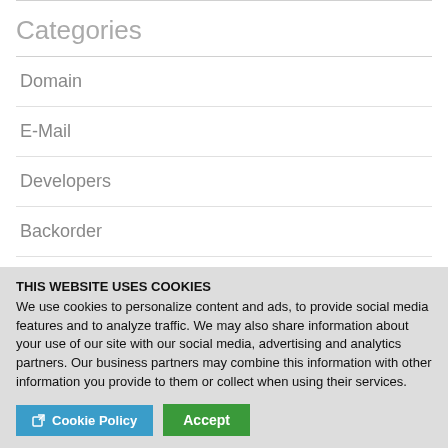Categories
Domain
E-Mail
Developers
Backorder
Marketing
THIS WEBSITE USES COOKIES
We use cookies to personalize content and ads, to provide social media features and to analyze traffic. We may also share information about your use of our site with our social media, advertising and analytics partners. Our business partners may combine this information with other information you provide to them or collect when using their services.
Cookie Policy  Accept